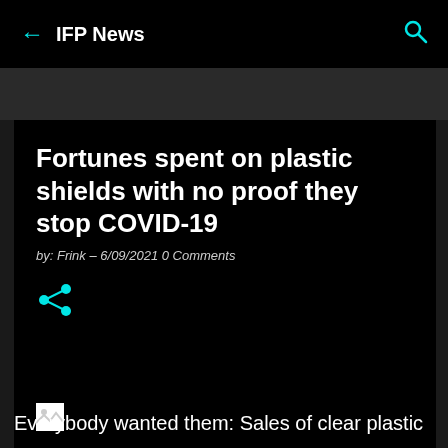IFP News
Fortunes spent on plastic shields with no proof they stop COVID-19
by: Frink – 6/09/2021 0 Comments
[Figure (other): Share icon (cyan/teal color)]
[Figure (other): Broken image placeholder icon]
Everybody wanted them: Sales of clear plastic